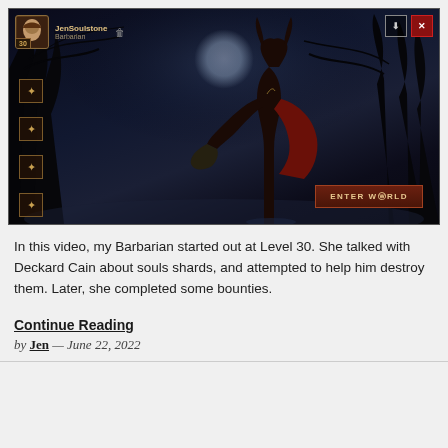[Figure (screenshot): Screenshot of a video game (Diablo Immortal or similar) showing a Barbarian character at Level 30 named JenSoulstone on a dark fantasy background with a full moon. HUD shows player avatar, name, class 'Barbarian', skill icons on the left side, and an 'ENTER WORLD' button in bottom right.]
In this video, my Barbarian started out at Level 30. She talked with Deckard Cain about souls shards, and attempted to help him destroy them. Later, she completed some bounties.
Continue Reading
by Jen — June 22, 2022